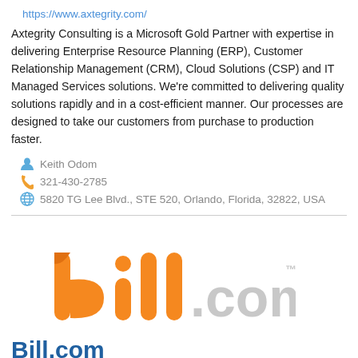https://www.axtegrity.com/
Axtegrity Consulting is a Microsoft Gold Partner with expertise in delivering Enterprise Resource Planning (ERP), Customer Relationship Management (CRM), Cloud Solutions (CSP) and IT Managed Services solutions. We're committed to delivering quality solutions rapidly and in a cost-efficient manner. Our processes are designed to take our customers from purchase to production faster.
Keith Odom
321-430-2785
5820 TG Lee Blvd., STE 520, Orlando, Florida, 32822, USA
[Figure (logo): bill.com logo with orange 'bill' text and grey '.com' text followed by a trademark symbol]
Bill.com